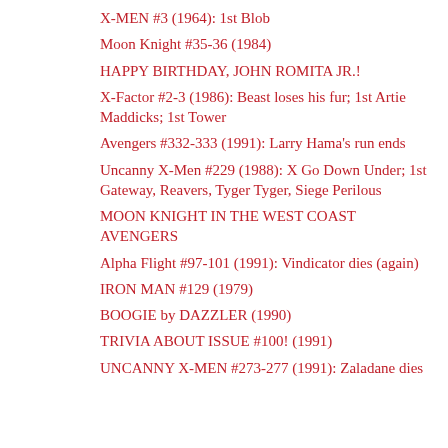X-MEN #3 (1964): 1st Blob
Moon Knight #35-36 (1984)
HAPPY BIRTHDAY, JOHN ROMITA JR.!
X-Factor #2-3 (1986): Beast loses his fur; 1st Artie Maddicks; 1st Tower
Avengers #332-333 (1991): Larry Hama's run ends
Uncanny X-Men #229 (1988): X Go Down Under; 1st Gateway, Reavers, Tyger Tyger, Siege Perilous
MOON KNIGHT IN THE WEST COAST AVENGERS
Alpha Flight #97-101 (1991): Vindicator dies (again)
IRON MAN #129 (1979)
BOOGIE by DAZZLER (1990)
TRIVIA ABOUT ISSUE #100! (1991)
UNCANNY X-MEN #273-277 (1991): Zaladane dies